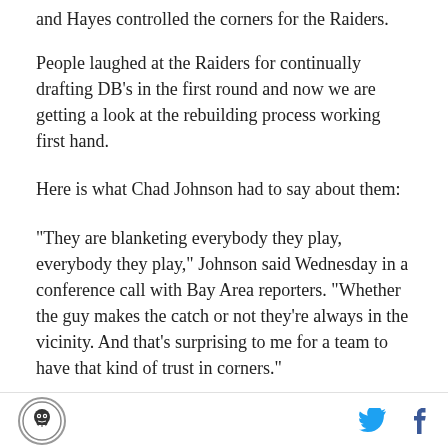and Hayes controlled the corners for the Raiders.
People laughed at the Raiders for continually drafting DB's in the first round and now we are getting a look at the rebuilding process working first hand.
Here is what Chad Johnson had to say about them:
"They are blanketing everybody they play, everybody they play," Johnson said Wednesday in a conference call with Bay Area reporters. "Whether the guy makes the catch or not they're always in the vicinity. And that's surprising to me for a team to have that kind of trust in corners."
My mind instantly flashed back to Hayes and Haynes
[Logo] [Twitter icon] [Facebook icon]